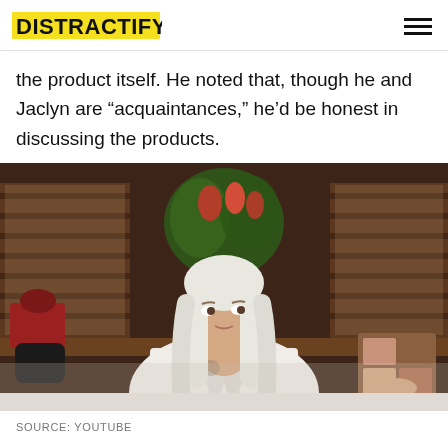DISTRACTIFY
the product itself. He noted that, though he and Jaclyn are "acquaintances," he'd be honest in discussing the products.
[Figure (photo): A person with long white/platinum blonde hair wearing a white robe, sitting on a bed, holding a makeup palette. Room has wooden blinds and tropical flowers in the background.]
SOURCE: YOUTUBE